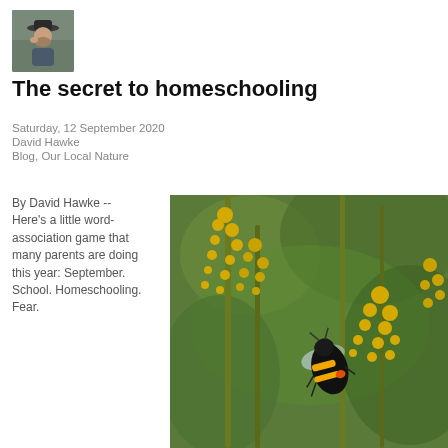[Figure (photo): Small square photo of a man (author David Hawke) wearing a cap, appearing to be outdoors]
The secret to homeschooling
Saturday, 12 September 2020
David Hawke
Blog, Our Local Nature
By David Hawke -- Here’s a little word-association game that many parents are doing this year: September. School. Homeschooling. Fear.
[Figure (photo): Close-up nature photo of a bumblebee on yellow goldenrod flowers with a green blurred background]